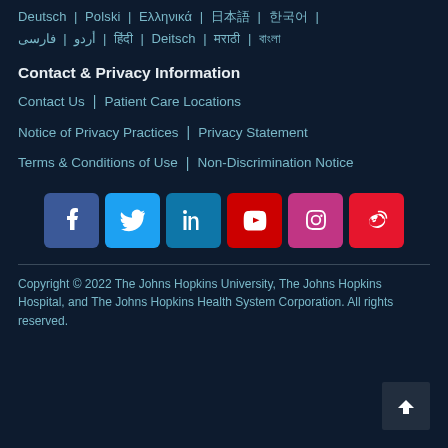Deutsch | Polski | Ελληνικά | 日本語 | 한국어 | أردو | فارسی | हिंदी | Deitsch | मराठी | বাংলা
Contact & Privacy Information
Contact Us | Patient Care Locations
Notice of Privacy Practices | Privacy Statement
Terms & Conditions of Use | Non-Discrimination Notice
[Figure (infographic): Social media icons: Facebook, Twitter, LinkedIn, YouTube, Instagram, Weibo]
Copyright © 2022 The Johns Hopkins University, The Johns Hopkins Hospital, and The Johns Hopkins Health System Corporation. All rights reserved.